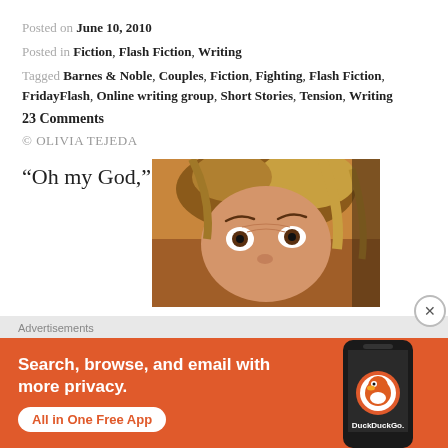Posted on June 10, 2010
Posted in Fiction, Flash Fiction, Writing
Tagged Barnes & Noble, Couples, Fiction, Fighting, Flash Fiction, FridayFlash, Online writing group, Short Stories, Tension, Writing
23 Comments
© OLIVIA TEJEDA
“Oh my God,”
[Figure (photo): Close-up photo of a wide-eyed woman with reddish-brown hair looking surprised or alarmed]
Advertisements
[Figure (screenshot): DuckDuckGo advertisement banner: orange background with text 'Search, browse, and email with more privacy. All in One Free App' and image of a smartphone with DuckDuckGo logo]